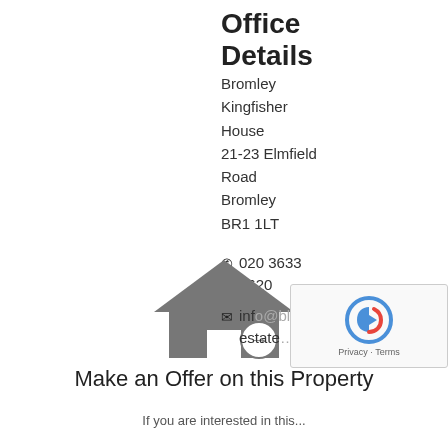Office Details
Bromley
Kingfisher House
21-23 Elmfield Road
Bromley
BR1 1LT
020 3633 8620
info@...estate...
[Figure (illustration): House icon with arrow circle (Make an Offer on this Property icon)]
Make an Offer on this Property
If you are interested in this...